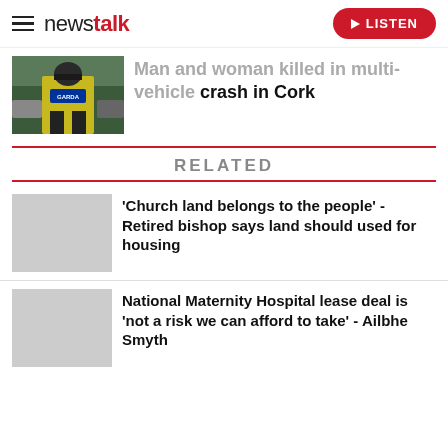newstalk LISTEN
Man and woman killed in multi-vehicle crash in Cork
RELATED
'Church land belongs to the people' - Retired bishop says land should used for housing
National Maternity Hospital lease deal is 'not a risk we can afford to take' - Ailbhe Smyth